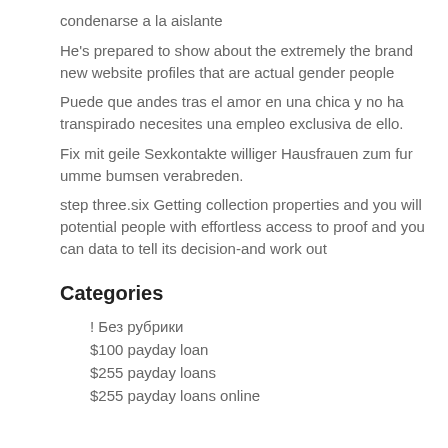condenarse a la aislante
He's prepared to show about the extremely the brand new website profiles that are actual gender people
Puede que andes tras el amor en una chica y no ha transpirado necesites una empleo exclusiva de ello.
Fix mit geile Sexkontakte williger Hausfrauen zum fur umme bumsen verabreden.
step three.six Getting collection properties and you will potential people with effortless access to proof and you can data to tell its decision-and work out
Categories
! Без рубрики
$100 payday loan
$255 payday loans
$255 payday loans online